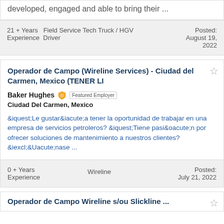developed, engaged and able to bring their ...
21 + Years  Field Service Tech Truck / HGV Experience Driver
Posted: August 19, 2022
Operador de Campo (Wireline Services) - Ciudad del Carmen, Mexico (TENER LI
Baker Hughes  Featured Employer
Ciudad Del Carmen, Mexico
&iquest;Le gustar&iacute;a tener la oportunidad de trabajar en una empresa de servicios petroleros? &iquest;Tiene pasi&oacute;n por ofrecer soluciones de mantenimiento a nuestros clientes? &iexcl;&Uacute;nase ...
0 + Years Experience
Wireline
Posted: July 21, 2022
Operador de Campo Wireline s/ou Slickline ...